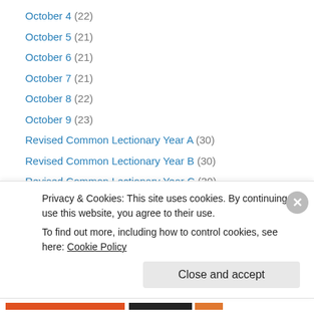October 4 (22)
October 5 (21)
October 6 (21)
October 7 (21)
October 8 (22)
October 9 (23)
Revised Common Lectionary Year A (30)
Revised Common Lectionary Year B (30)
Revised Common Lectionary Year C (30)
September 1 (21)
September 10 (22)
September 11 (23)
September 12 (21)
Privacy & Cookies: This site uses cookies. By continuing to use this website, you agree to their use. To find out more, including how to control cookies, see here: Cookie Policy